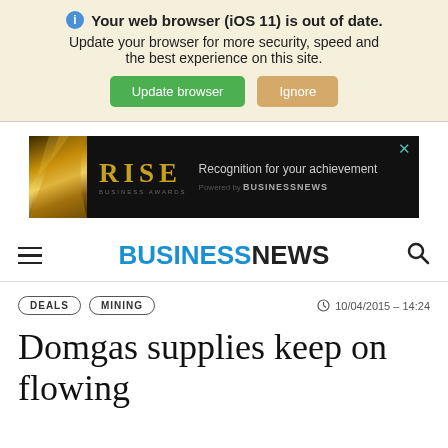Your web browser (iOS 11) is out of date. Update your browser for more security, speed and the best experience on this site.
[Figure (screenshot): RISE Business Awards advertisement banner on dark background with gold decorative design]
BUSINESSNEWS
DEALS   MINING   10/04/2015 - 14:24
Domgas supplies keep on flowing